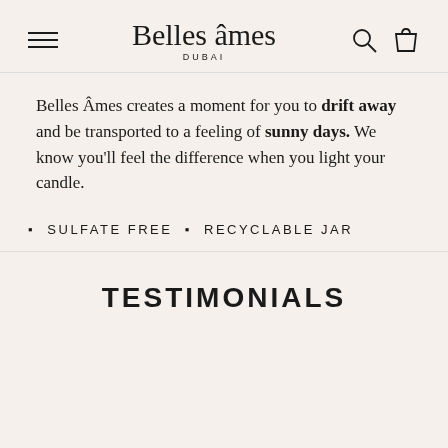Belles âmes DUBAI
Belles Âmes creates a moment for you to drift away and be transported to a feeling of sunny days. We know you'll feel the difference when you light your candle.
▪ SULFATE FREE ▪ RECYCLABLE JAR
TESTIMONIALS